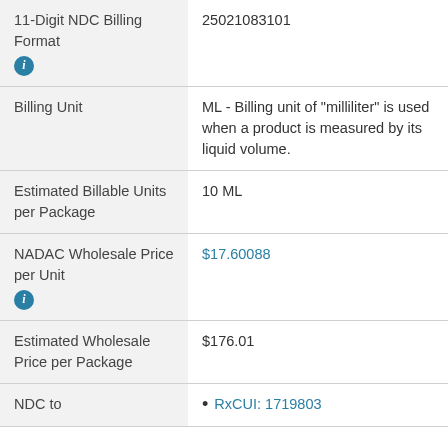| Field | Value |
| --- | --- |
| 11-Digit NDC Billing Format | 25021083101 |
| Billing Unit | ML - Billing unit of "milliliter" is used when a product is measured by its liquid volume. |
| Estimated Billable Units per Package | 10 ML |
| NADAC Wholesale Price per Unit | $17.60088 |
| Estimated Wholesale Price per Package | $176.01 |
| NDC to | • RxCUI: 1719803 |